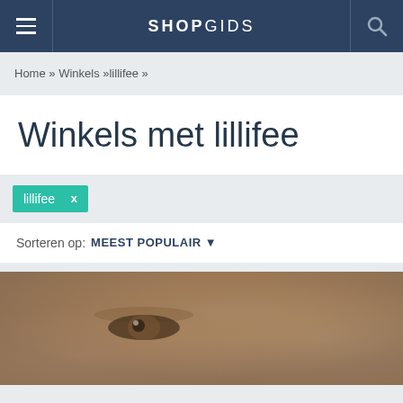SHOPGIDS
Home » Winkels »lillifee »
Winkels met lillifee
lillifee  x
Sorteren op: MEEST POPULAIR
[Figure (photo): Close-up photo of a child's face showing eye and forehead area, with warm skin tones]